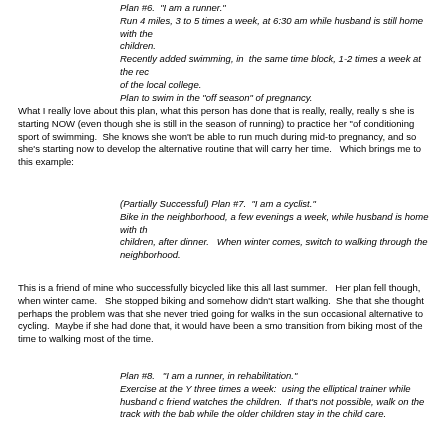Plan #6.  "I am a runner."
Run 4 miles, 3 to 5 times a week, at 6:30 am while husband is still home with the children.
Recently added swimming, in  the same time block, 1-2 times a week at the rec of the local college.
Plan to swim in the "off season" of pregnancy.
What I really love about this plan, what this person has done that is really, really, really s she is starting NOW (even though she is still in the season of running) to practice her "of conditioning sport of swimming.  She knows she won't be able to run much during mid-to pregnancy, and so she's starting now to develop the alternative routine that will carry her time.   Which brings me to this example:
(Partially Successful) Plan #7.  "I am a cyclist."
Bike in the neighborhood, a few evenings a week, while husband is home with th children, after dinner.   When winter comes, switch to walking through the neighborhood.
This is a friend of mine who successfully bicycled like this all last summer.   Her plan fell though, when winter came.   She stopped biking and somehow didn't start walking.  She that she thought perhaps the problem was that she never tried going for walks in the sun occasional alternative to cycling.  Maybe if she had done that, it would have been a smo transition from biking most of the time to walking most of the time.
Plan #8.   "I am a runner, in rehabilitation."
Exercise at the Y three times a week:  using the elliptical trainer while husband c friend watches the children.  If that's not possible, walk on the track with the bab while the older children stay in the child care.